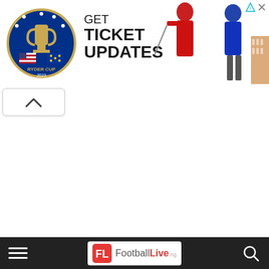[Figure (screenshot): Ryder Cup advertisement banner: Ryder Cup 2023 circular logo on the left, text 'GET TICKET UPDATES' in bold, golfers in red and blue uniforms on the right, with ad controls (info and close buttons) in the top right corner.]
[Figure (screenshot): Scroll-up chevron button (^) in a rounded rectangle box below the ad banner on the left side of the screen.]
[Figure (screenshot): Dark navigation bar with hamburger menu icon on the left, FootballLive.ng logo in the center (red FL icon with 'Football' in gray and 'Live' in red with '.ng' subscript), and a search (magnifying glass) icon on the right.]